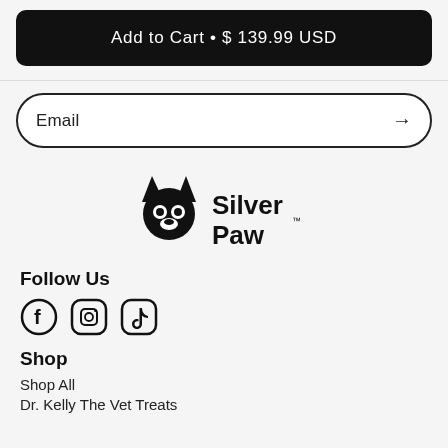Add to Cart • $ 139.99 USD
Email
[Figure (logo): Silver Paw brand logo with a stylized black dog face icon and bold text reading 'Silver Paw' with trademark symbol]
Follow Us
[Figure (infographic): Social media icons: Facebook (circle with f), Instagram (rounded square with camera), TikTok (rounded square with music note)]
Shop
Shop All
Dr. Kelly The Vet Treats